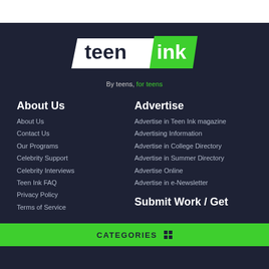[Figure (logo): Teen Ink logo — word 'teen' in dark navy on white parallelogram shape, 'ink' in white on green parallelogram shape. Tagline: 'By teens, for teens' in grey with 'for teens' in green.]
About Us
About Us
Contact Us
Our Programs
Celebrity Support
Celebrity Interviews
Teen Ink FAQ
Privacy Policy
Terms of Service
Advertise
Advertise in Teen Ink magazine
Advertising Information
Advertise in College Directory
Advertise in Summer Directory
Advertise Online
Advertise in e-Newsletter
Submit Work / Get
CATEGORIES